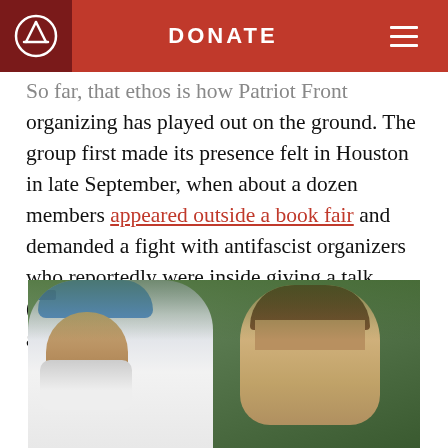DONATE
So far, that ethos is how Patriot Front organizing has played out on the ground. The group first made its presence felt in Houston in late September, when about a dozen members appeared outside a book fair and demanded a fight with antifascist organizers who reportedly were inside giving a talk. (Rousseau later led a similar protest outside an Austin bookstore.)
[Figure (photo): Photograph showing two people outdoors. On the left is a bearded man wearing a white shirt and blue cap with sunglasses. On the right is a younger person with brown hair. Green foliage visible in background.]